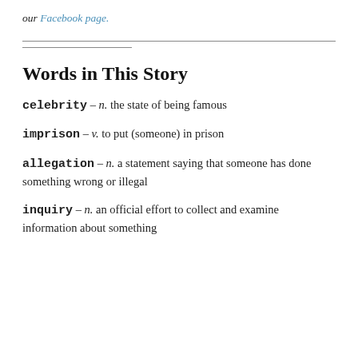our Facebook page.
Words in This Story
celebrity – n. the state of being famous
imprison – v. to put (someone) in prison
allegation – n. a statement saying that someone has done something wrong or illegal
inquiry – n. an official effort to collect and examine information about something